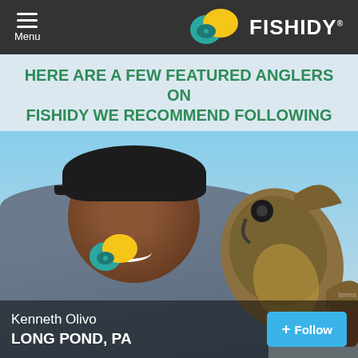Menu | FISHIDY.
HERE ARE A FEW FEATURED ANGLERS ON FISHIDY WE RECOMMEND FOLLOWING
[Figure (photo): A smiling man holding a large bass fish in front of the camera. He is wearing a grey Fishidy-branded t-shirt and a dark baseball cap. The background shows a blue sky. He appears to be outdoors near water.]
Kenneth Olivo
LONG POND, PA
+ Follow